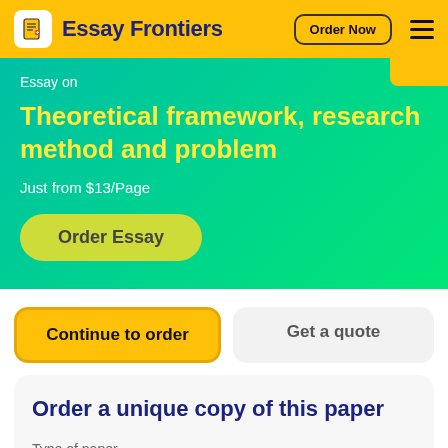Essay Frontiers | Order Now
Essay on
Theoretical framework, research method and problem
Just from $13/Page
Order Essay
Continue to order
Get a quote
Order a unique copy of this paper
Type of paper